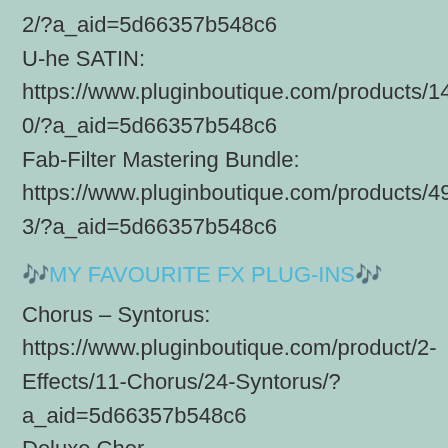2/?a_aid=5d66357b548c6
U-he SATIN:
https://www.pluginboutique.com/products/1400/?a_aid=5d66357b548c6
Fab-Filter Mastering Bundle:
https://www.pluginboutique.com/products/4953/?a_aid=5d66357b548c6
🎶MY FAVOURITE FX PLUG-INS🎶
Chorus – Syntorus:
https://www.pluginboutique.com/product/2-Effects/11-Chorus/24-Syntorus/?a_aid=5d66357b548c6
Deluxe Chor—